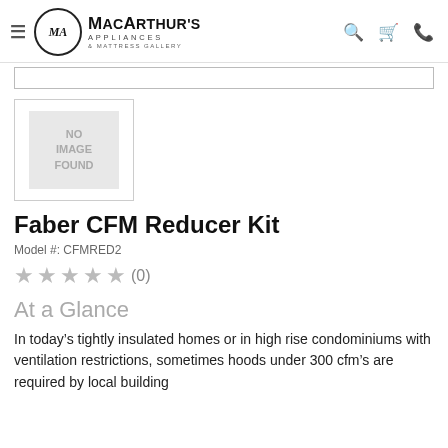MacArthur's Appliances & Mattress Gallery
[Figure (other): Product placeholder image with text NO IMAGE FOUND]
Faber CFM Reducer Kit
Model #: CFMRED2
★★★★★ (0)
At a Glance
In today's tightly insulated homes or in high rise condominiums with ventilation restrictions, sometimes hoods under 300 cfm's are required by local building